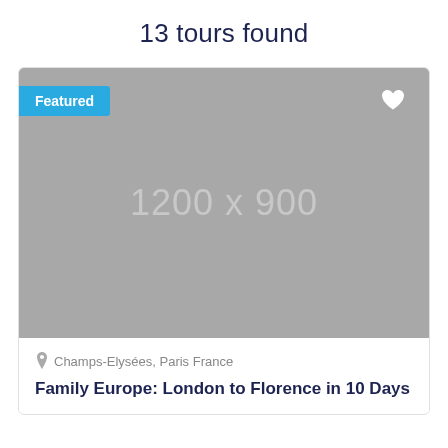13 tours found
[Figure (photo): Placeholder image 1200 x 900 with Featured badge and heart icon overlay]
Champs-Elysées, Paris France
Family Europe: London to Florence in 10 Days